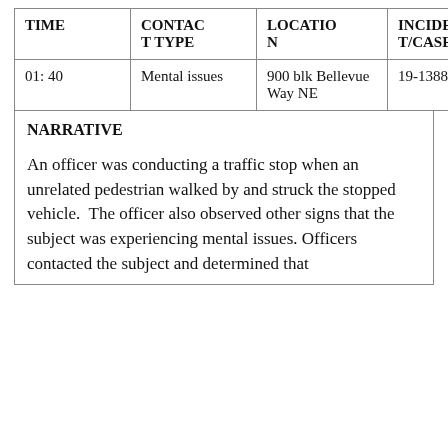| TIME | CONTACT TYPE | LOCATION | INCIDENT/CASE# |
| --- | --- | --- | --- |
| 01: 40 | Mental issues | 900 blk Bellevue Way NE | 19-13880 |
NARRATIVE
An officer was conducting a traffic stop when an unrelated pedestrian walked by and struck the stopped vehicle.  The officer also observed other signs that the subject was experiencing mental issues. Officers contacted the subject and determined that